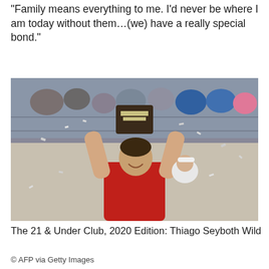“Family means everything to me. I’d never be where I am today without them…(we) have a really special bond.”
[Figure (photo): A young male tennis player in a red shirt lifts a trophy above his head with both arms, smiling, surrounded by confetti, with a crowd in the stadium bleachers in the background.]
The 21 & Under Club, 2020 Edition: Thiago Seyboth Wild
© AFP via Getty Images